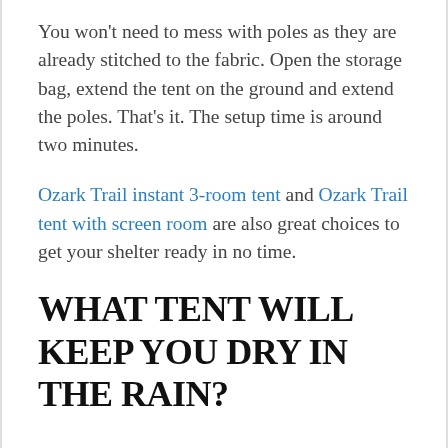You won't need to mess with poles as they are already stitched to the fabric. Open the storage bag, extend the tent on the ground and extend the poles. That's it. The setup time is around two minutes.
Ozark Trail instant 3-room tent and Ozark Trail tent with screen room are also great choices to get your shelter ready in no time.
WHAT TENT WILL KEEP YOU DRY IN THE RAIN?